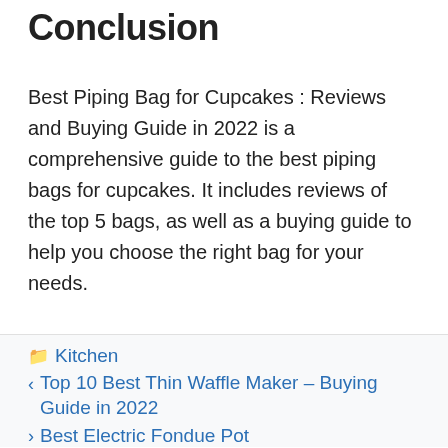Conclusion
Best Piping Bag for Cupcakes : Reviews and Buying Guide in 2022 is a comprehensive guide to the best piping bags for cupcakes. It includes reviews of the top 5 bags, as well as a buying guide to help you choose the right bag for your needs.
Kitchen
Top 10 Best Thin Waffle Maker – Buying Guide in 2022
Best Electric Fondue Pot